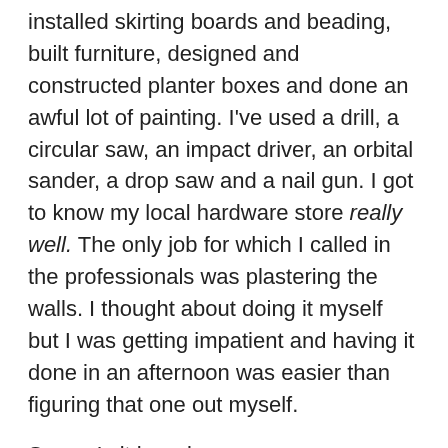installed skirting boards and beading, built furniture, designed and constructed planter boxes and done an awful lot of painting. I've used a drill, a circular saw, an impact driver, an orbital sander, a drop saw and a nail gun. I got to know my local hardware store really well. The only job for which I called in the professionals was plastering the walls. I thought about doing it myself but I was getting impatient and having it done in an afternoon was easier than figuring that one out myself.
So, as I sit here in my new space writing this blog post, I still can't really believe it exists and it is mine. Really mine because I made it myself.
A shed load of love and thanks to all the family